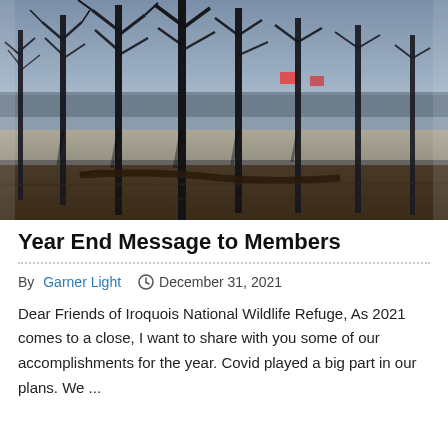[Figure (photo): Wetland/swamp landscape with bare trees reflected in still water, taken in winter or early spring. Silhouetted bare deciduous trees stand in flooded area with water reflecting warm golden light near horizon. Background shows faint reddish/orange objects visible through trees.]
Year End Message to Members
By Garner Light   ◷ December 31, 2021
Dear Friends of Iroquois National Wildlife Refuge, As 2021 comes to a close, I want to share with you some of our accomplishments for the year. Covid played a big part in our plans. We ...